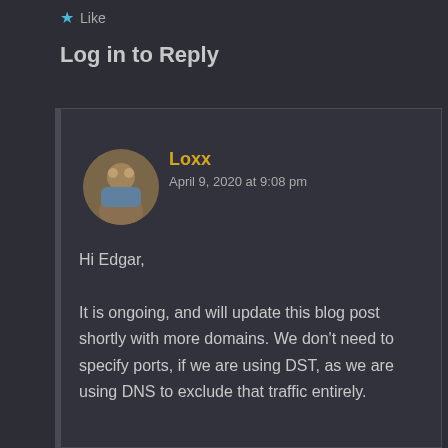★ Like
Log in to Reply
Loxx
April 9, 2020 at 9:08 pm
Hi Edgar,

It is ongoing, and will update this blog post shortly with more domains. We don't need to specify ports, if we are using DST, as we are using DNS to exclude that traffic entirely.